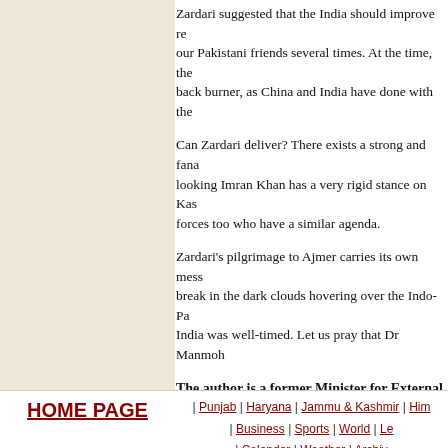Zardari suggested that the India should improve re... our Pakistani friends several times. At the time, the... back burner, as China and India have done with the...
Can Zardari deliver? There exists a strong and fana... looking Imran Khan has a very rigid stance on Kas... forces too who have a similar agenda.
Zardari's pilgrimage to Ajmer carries its own mess... break in the dark clouds hovering over the Indo-Pa... India was well-timed. Let us pray that Dr Manmoh...
The author is a former Minister for External Af...
HOME PAGE | Punjab | Haryana | Jammu & Kashmir | Him... | Business | Sports | World | Le... | Calendar | Weather | Archiv...